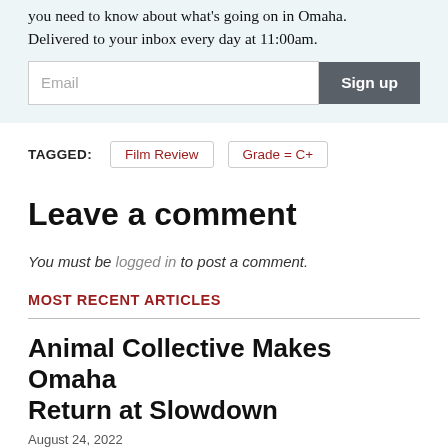you need to know about what's going on in Omaha. Delivered to your inbox every day at 11:00am.
TAGGED: Film Review  Grade = C+
Leave a comment
You must be logged in to post a comment.
MOST RECENT ARTICLES
Animal Collective Makes Omaha Return at Slowdown
August 24, 2022